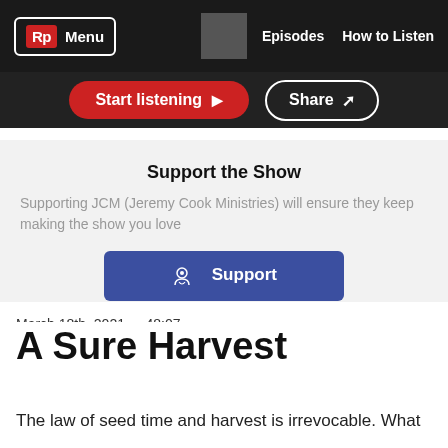Rp Menu | Episodes | How to Listen
[Figure (screenshot): Navigation bar with Rp logo, Menu button, a gray square icon, Episodes and How to Listen links on dark background]
Start listening ▶   Share ↗
Support the Show
Supporting JCM (Jeremy Cook Ministries) will ensure they keep making the show you love
💲 Support
March 18th, 2021 · 48:07
A Sure Harvest
The law of seed time and harvest is irrevocable. What